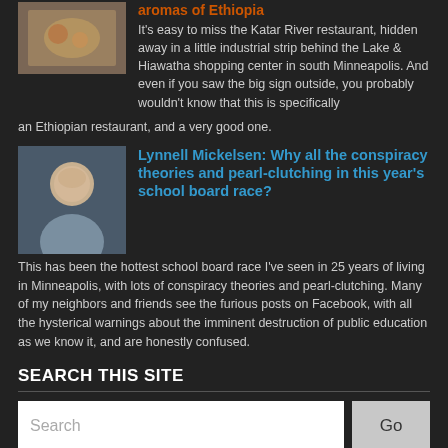[Figure (photo): Photo of food/restaurant setting]
aromas of Ethiopia
It's easy to miss the Katar River restaurant, hidden away in a little industrial strip behind the Lake & Hiawatha shopping center in south Minneapolis. And even if you saw the big sign outside, you probably wouldn't know that this is specifically an Ethiopian restaurant, and a very good one.
[Figure (photo): Portrait photo of Lynnell Mickelsen]
Lynnell Mickelsen: Why all the conspiracy theories and pearl-clutching in this year's school board race?
This has been the hottest school board race I've seen in 25 years of living in Minneapolis, with lots of conspiracy theories and pearl-clutching. Many of my neighbors and friends see the furious posts on Facebook, with all the hysterical warnings about the imminent destruction of public education as we know it, and are honestly confused.
SEARCH THIS SITE
BROWSE ARCHIVES
[Figure (screenshot): Social media icons: RSS, Facebook, Twitter]